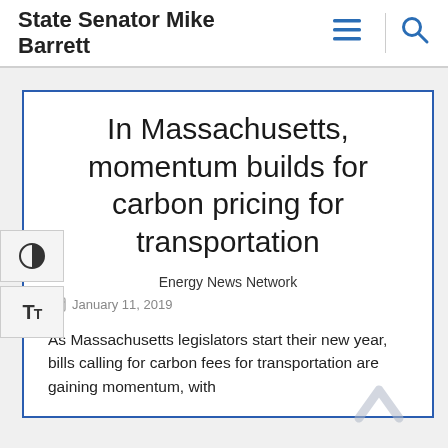State Senator Mike Barrett
In Massachusetts, momentum builds for carbon pricing for transportation
Energy News Network
January 11, 2019
As Massachusetts legislators start their new year, bills calling for carbon fees for transportation are gaining momentum, with